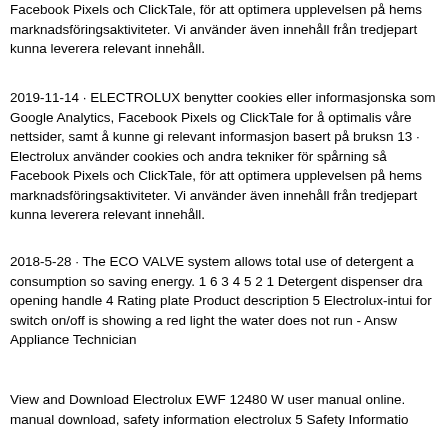Facebook Pixels och ClickTale, för att optimera upplevelsen på hems marknadsföringsaktiviteter. Vi använder även innehåll från tredjepart kunna leverera relevant innehåll.
2019-11-14 · ELECTROLUX benytter cookies eller informasjonska som Google Analytics, Facebook Pixels og ClickTale for å optimalis våre nettsider, samt å kunne gi relevant informasjon basert på bruksn 13 · Electrolux använder cookies och andra tekniker för spårning så Facebook Pixels och ClickTale, för att optimera upplevelsen på hems marknadsföringsaktiviteter. Vi använder även innehåll från tredjepart kunna leverera relevant innehåll.
2018-5-28 · The ECO VALVE system allows total use of detergent a consumption so saving energy. 1 6 3 4 5 2 1 Detergent dispenser dra opening handle 4 Rating plate Product description 5 Electrolux-intui for switch on/off is showing a red light the water does not run - Answ Appliance Technician
View and Download Electrolux EWF 12480 W user manual online. manual download, safety information electrolux 5 Safety Informatio